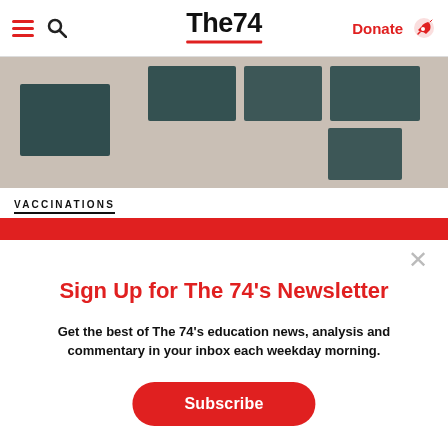The74 — Donate
[Figure (photo): Partial hero image with dark teal smoke/bacteria image blocks on a beige/tan background]
VACCINATIONS
Sign Up for The 74's Newsletter
Get the best of The 74's education news, analysis and commentary in your inbox each weekday morning.
Subscribe